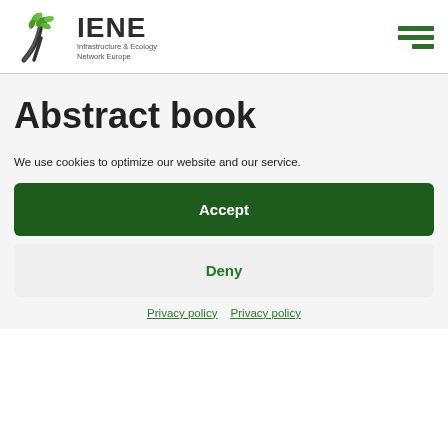[Figure (logo): IENE logo with tree and road icon, text 'IENE' in bold, subtitle 'Infrastructure & Ecology Network Europe']
Abstract book
We use cookies to optimize our website and our service.
Accept
Deny
Privacy policy   Privacy policy